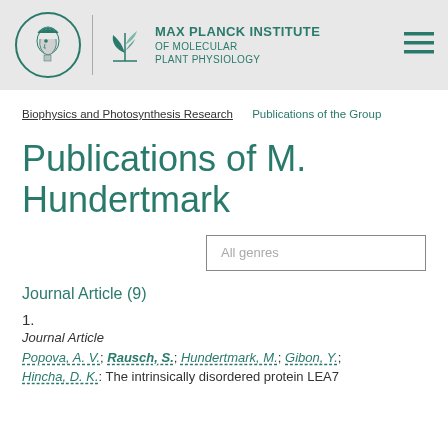[Figure (logo): Max Planck Institute of Molecular Plant Physiology header with circular Minerva logo, leaf/plant logo, institute name, and hamburger menu icon]
Biophysics and Photosynthesis Research   Publications of the Group
Publications of M. Hundertmark
All genres
Journal Article (9)
1.
Journal Article
Popova, A. V.; Rausch, S.; Hundertmark, M.; Gibon, Y.; Hincha, D. K.: The intrinsically disordered protein LEA7